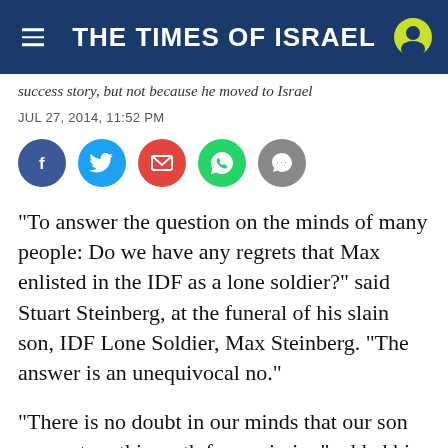THE TIMES OF ISRAEL
success story, but not because he moved to Israel
JUL 27, 2014, 11:52 PM
[Figure (infographic): Social share buttons: Facebook, Twitter, Email, WhatsApp, Message]
“To answer the question on the minds of many people: Do we have any regrets that Max enlisted in the IDF as a lone soldier?” said Stuart Steinberg, at the funeral of his slain son, IDF Lone Soldier, Max Steinberg. “The answer is an unequivocal no.”
“There is no doubt in our minds that our son was put on this earth for a mission” added his mother, Evie. “We are in awe of what Max achieved from the moment he said, ‘I am returning to Israel.’ As parents we are filled with joy and pride for the man…